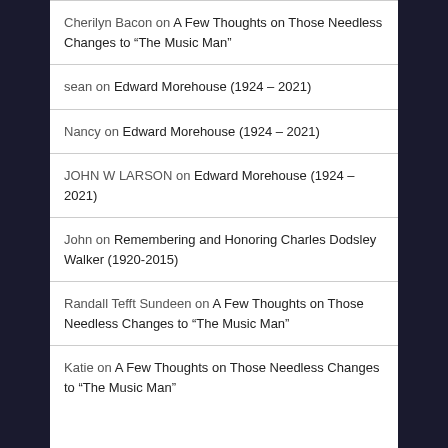Cherilyn Bacon on A Few Thoughts on Those Needless Changes to “The Music Man”
sean on Edward Morehouse (1924 – 2021)
Nancy on Edward Morehouse (1924 – 2021)
JOHN W LARSON on Edward Morehouse (1924 – 2021)
John on Remembering and Honoring Charles Dodsley Walker (1920-2015)
Randall Tefft Sundeen on A Few Thoughts on Those Needless Changes to “The Music Man”
Katie on A Few Thoughts on Those Needless Changes to “The Music Man”